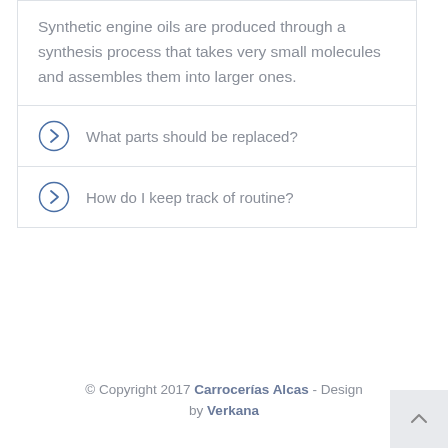Synthetic engine oils are produced through a synthesis process that takes very small molecules and assembles them into larger ones.
What parts should be replaced?
How do I keep track of routine?
© Copyright 2017 Carrocerías Alcas - Design by Verkana